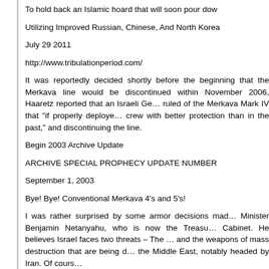To hold back an Islamic hoard that will soon pour dow…
Utilizing Improved Russian, Chinese, And North Korea…
July 29 2011
http://www.tribulationperiod.com/
It was reportedly decided shortly before the beginning that the Merkava line would be discontinued within November 2006, Haaretz reported that an Israeli Ge… ruled of the Merkava Mark IV that "if properly deploye… crew with better protection than in the past," and discontinuing the line.
Begin 2003 Archive Update
ARCHIVE SPECIAL PROPHECY UPDATE NUMBER…
September 1, 2003
Bye! Bye! Conventional Merkava 4's and 5's!
I was rather surprised by some armor decisions mad… Minister Benjamin Netanyahu, who is now the Treasu… Cabinet. He believes Israel faces two threats – The … and the weapons of mass destruction that are being d… the Middle East, notably headed by Iran. Of cours…